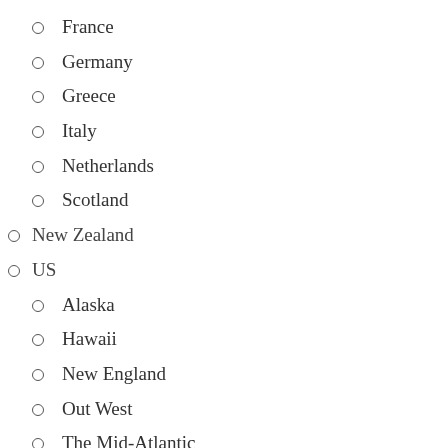France
Germany
Greece
Italy
Netherlands
Scotland
New Zealand
US
Alaska
Hawaii
New England
Out West
The Mid-Atlantic
The South